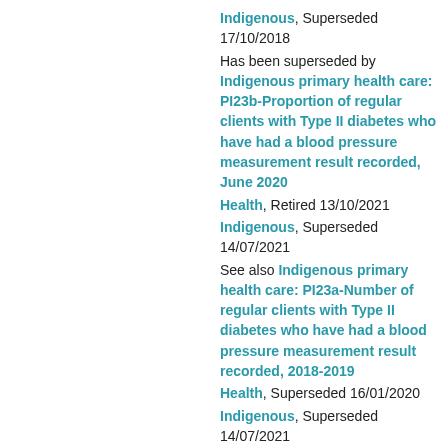Indigenous, Superseded 17/10/2018
Has been superseded by Indigenous primary health care: PI23b-Proportion of regular clients with Type II diabetes who have had a blood pressure measurement result recorded, June 2020
Health, Retired 13/10/2021
Indigenous, Superseded 14/07/2021
See also Indigenous primary health care: PI23a-Number of regular clients with Type II diabetes who have had a blood pressure measurement result recorded, 2018-2019
Health, Superseded 16/01/2020
Indigenous, Superseded 14/07/2021